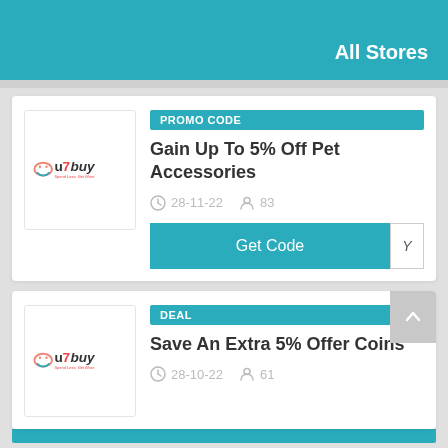All Stores
PROMO CODE
Gain Up To 5% Off Pet Accessories
28-11-22  83
Get Code  Y
DEAL
Save An Extra 5% Offer Coins
28-10-22  61